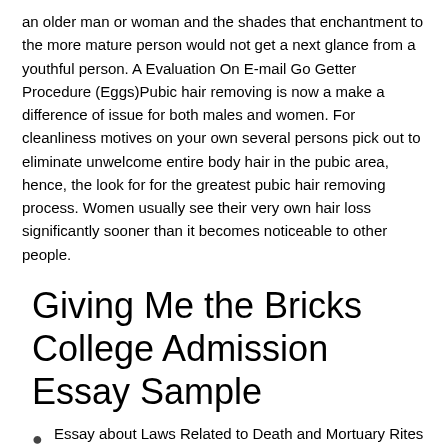an older man or woman and the shades that enchantment to the more mature person would not get a next glance from a youthful person. A Evaluation On E-mail Go Getter Procedure (Eggs)Pubic hair removing is now a make a difference of issue for both males and women. For cleanliness motives on your own several persons pick out to eliminate unwelcome entire body hair in the pubic area, hence, the look for for the greatest pubic hair removing process. Women usually see their very own hair loss significantly sooner than it becomes noticeable to other people.
Giving Me the Bricks College Admission Essay Sample
Essay about Laws Related to Death and Mortuary Rites in India
Essay about An Issue of Equal Human Rights for Men and Women
Epigenetics How It Affects Our Future College Admission